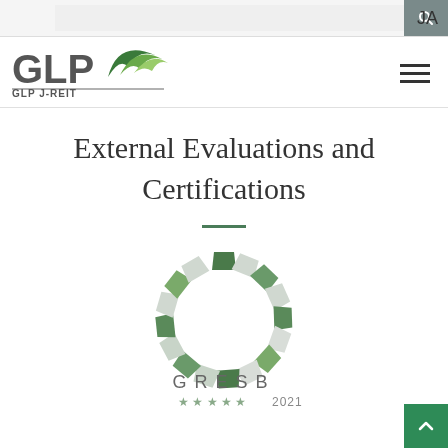JA
[Figure (logo): GLP J-REIT logo with green arc/grass graphic and company name]
External Evaluations and Certifications
[Figure (logo): GRESB 2021 logo with circular segmented ring in green and grey, five stars, text GRESB and 2021]